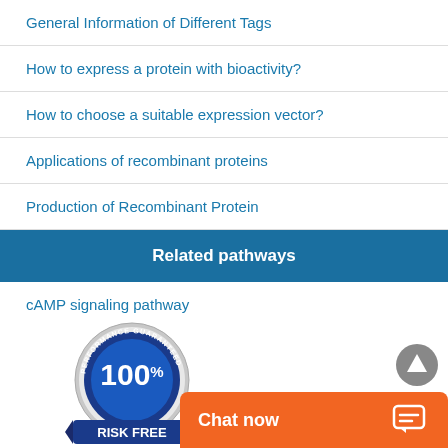General Information of Different Tags
How to express a protein with bioactivity?
How to choose a suitable expression vector?
Applications of recombinant proteins
Production of Recombinant Protein
Related pathways
cAMP signaling pathway
[Figure (illustration): 100% Performance Guaranteed Risk Free badge/seal in blue and silver, with 'RISK FREE' text on a blue ribbon at the bottom]
Chat now